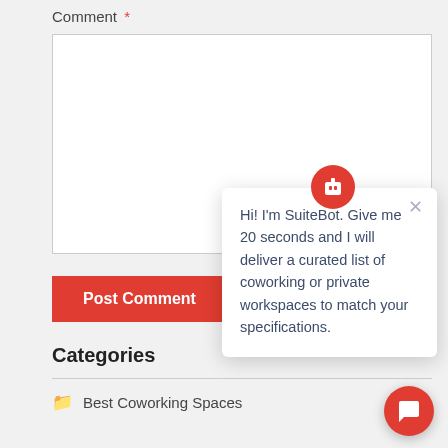Comment *
[Figure (screenshot): Empty comment text area input box with white background and light gray border]
Post Comment
Categories
Best Coworking Spaces (30)
[Figure (screenshot): SuiteBot chatbot popup with red circular icon showing stylized robot logo, close X button, and message: Hi! I'm SuiteBot. Give me 20 seconds and I will deliver a curated list of coworking or private workspaces to match your specifications.]
[Figure (screenshot): Red circular chat launcher button in bottom right corner with white speech bubble icon]